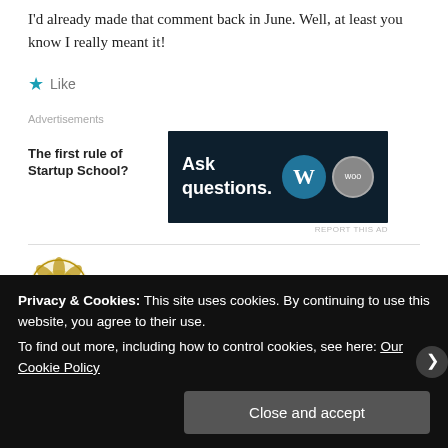I'd already made that comment back in June. Well, at least you know I really meant it!
★ Like
Advertisements
[Figure (other): Advertisement banner: left text block 'The first rule of Startup School?' and right dark banner with 'Ask questions.' and WordPress/WooCommerce logos]
REPORT THIS AD
Heather
Privacy & Cookies: This site uses cookies. By continuing to use this website, you agree to their use.
To find out more, including how to control cookies, see here: Our Cookie Policy
Close and accept